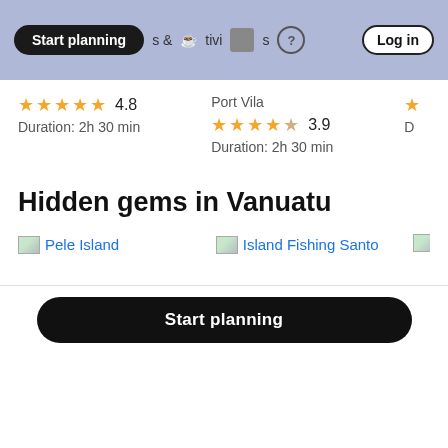Start planning | Log in
★★★★★ 4.8
Duration: 2h 30 min
Port Vila
★★★★☆ 3.9
Duration: 2h 30 min
Hidden gems in Vanuatu
Pele Island
Island Fishing Santo
Start planning